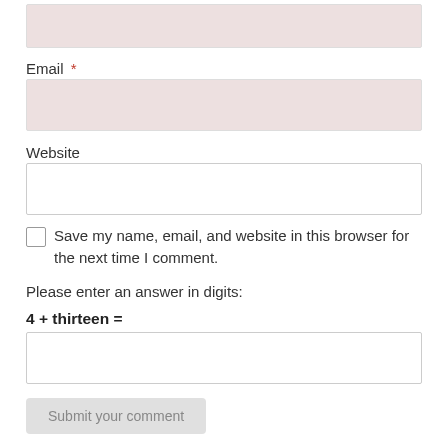[Figure (screenshot): A web form input field (pink/light rose background, top of page, partially visible)]
Email *
[Figure (screenshot): Email input field with pink/rose background]
Website
[Figure (screenshot): Website input field with white background]
Save my name, email, and website in this browser for the next time I comment.
Please enter an answer in digits:
4 + thirteen =
[Figure (screenshot): Answer input field with white background]
Submit your comment